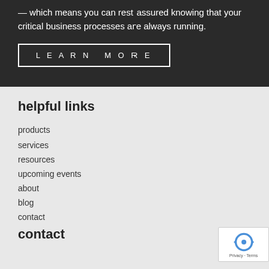— which means you can rest assured knowing that your critical business processes are always running.
LEARN MORE
helpful links
products
services
resources
upcoming events
about
blog
contact
contact
[Figure (logo): reCAPTCHA badge with recycling arrow logo icon and Privacy - Terms text]